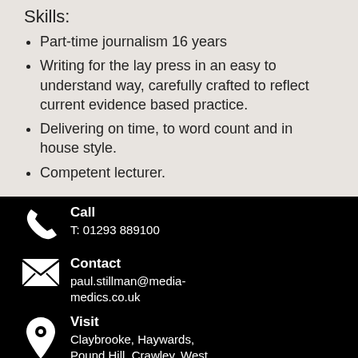Skills:
Part-time journalism 16 years
Writing for the lay press in an easy to understand way, carefully crafted to reflect current evidence based practice.
Delivering on time, to word count and in house style.
Competent lecturer.
Call
T: 01293 889100
Contact
paul.stillman@media-medics.co.uk
Visit
Claybrooke, Haywards, Pound Hill, Crawley, West Sussex RH10 3TR